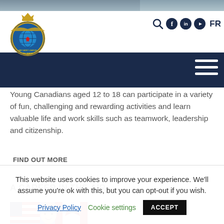[Figure (photo): Top photo strip showing people outdoors (partially visible)]
[Figure (logo): Air Cadet League of Canada crest/logo with crown, eagle, and circular emblem]
[Figure (infographic): Navigation bar with search icon, social media icons (Facebook, LinkedIn, YouTube), FR language toggle, and hamburger menu on dark blue background]
Young Canadians aged 12 to 18 can participate in a variety of fun, challenging and rewarding activities and learn valuable life and work skills such as teamwork, leadership and citizenship.
FIND OUT MORE
A CAREER IN THE AIR
[Figure (photo): Portrait of a smiling man in military uniform with American and Canadian flags in the background]
This website uses cookies to improve your experience. We'll assume you're ok with this, but you can opt-out if you wish.
Privacy Policy   Cookie settings   ACCEPT